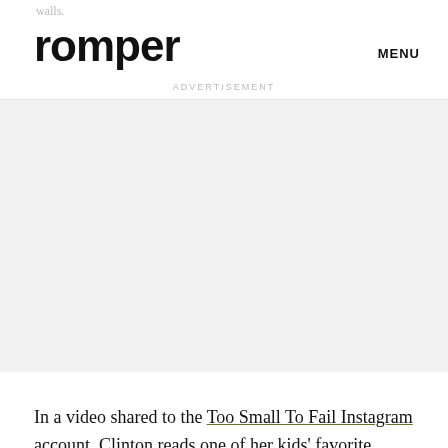walls.
romper
MENU
ADVERTISEMENT
[Figure (other): Advertisement placeholder area with light gray background]
In a video shared to the Too Small To Fail Instagram account, Clinton reads one of her kids' favorite books,